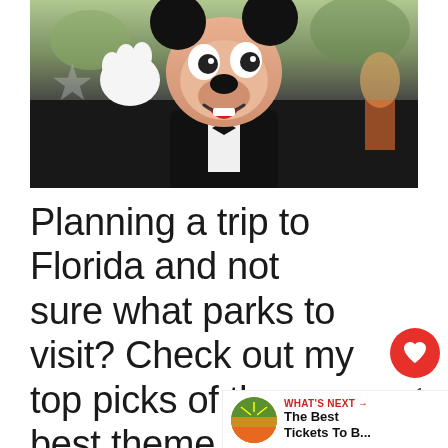[Figure (photo): Photo of Mickey Mouse character in a tuxedo, waving and smiling, at a Disney park parade with crowds in the background]
Planning a trip to Florida and not sure what parks to visit? Check out my top picks of the best theme park tickets to in Orlando.
WHAT'S NEXT → The Best Tickets To B...